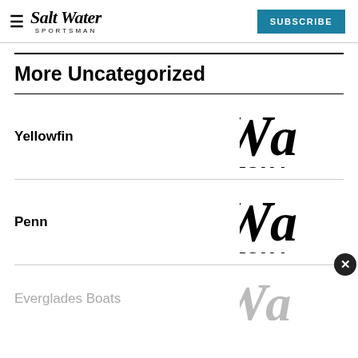SaltWater Sportsman — SUBSCRIBE
More Uncategorized
Yellowfin
[Figure (logo): SaltWater Sportsman logo (cropped, showing 'ltWa' and 'PORTSMA')]
Penn
[Figure (logo): SaltWater Sportsman logo (cropped, showing 'ltWa' and 'PORTSMA')]
Everglades Boats
[Figure (logo): SaltWater Sportsman logo (cropped, partially visible, gray toned)]